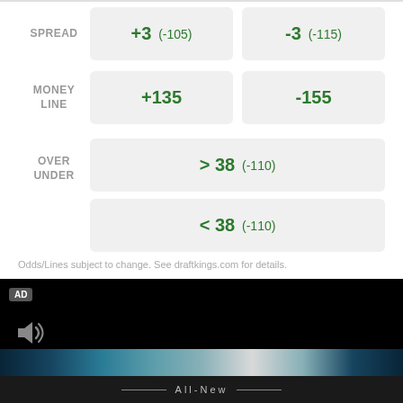|  | Team 1 | Team 2 |
| --- | --- | --- |
| SPREAD | +3 (-105) | -3 (-115) |
| MONEY LINE | +135 | -155 |
| OVER UNDER | > 38 (-110) | < 38 (-110) |
Odds/Lines subject to change. See draftkings.com for details.
[Figure (screenshot): Black video player with AD badge in top-left corner, speaker/volume icon at bottom-left, a blue gradient light streak near the bottom, and a dark strip at the very bottom showing 'All-New' text with decorative lines on each side.]